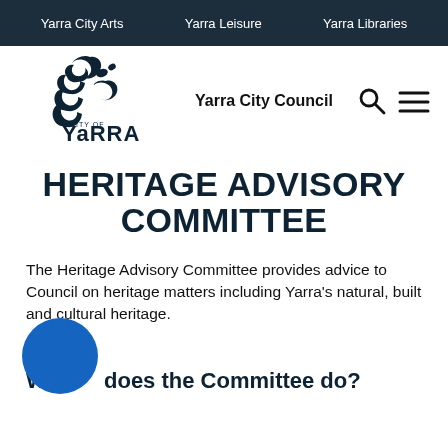Yarra City Arts   Yarra Leisure   Yarra Libraries
[Figure (logo): City of Yarra logo with stylised figure and flowing design]
Yarra City Council
HERITAGE ADVISORY COMMITTEE
The Heritage Advisory Committee provides advice to Council on heritage matters including Yarra's natural, built and cultural heritage.
What does the Committee do?